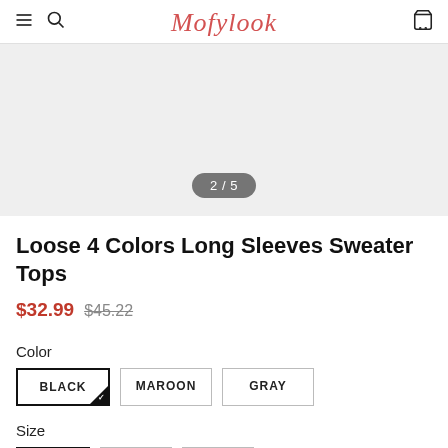Mofylook
[Figure (photo): Product image area showing image 2 of 5 with a light gray placeholder background]
Loose 4 Colors Long Sleeves Sweater Tops
$32.99  $45.22
Color
BLACK  MAROON  GRAY
Size